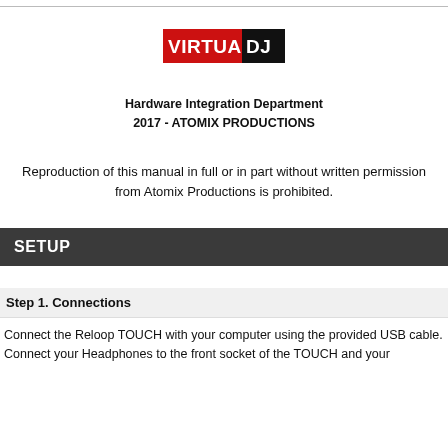[Figure (logo): VirtualDJ logo: red rectangle with white bold text VIRTUAL and black bold text DJ]
Hardware Integration Department
2017 - ATOMIX PRODUCTIONS
Reproduction of this manual in full or in part without written permission from Atomix Productions is prohibited.
SETUP
Step 1. Connections
Connect the Reloop TOUCH with your computer using the provided USB cable. Connect your Headphones to the front socket of the TOUCH and your